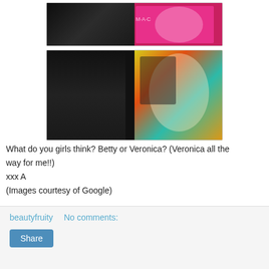[Figure (photo): Top image: MAC Barbie makeup collection product display on left, model with pink and blonde Barbie-themed makeup on right]
[Figure (photo): Bottom image: MAC cosmetics collection product display on left, colorful pop-art style photo of blonde model wearing striped outfit on right]
What do you girls think? Betty or Veronica? (Veronica all the way for me!!)
xxx A
(Images courtesy of Google)
beautyfruity   No comments:
Share